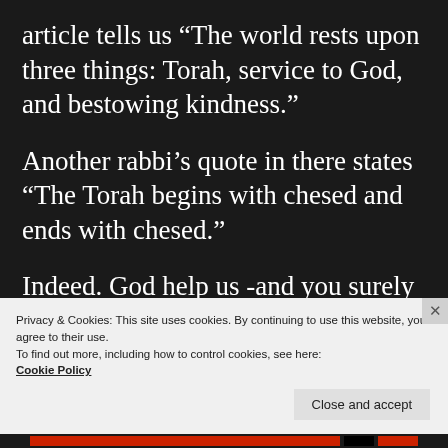article tells us “The world rests upon three things: Torah, service to God, and bestowing kindness.”
Another rabbi’s quote in there states “The Torah begins with chesed and ends with chesed.”
Indeed. God help us -and you surely so often do through women, Thank
Privacy & Cookies: This site uses cookies. By continuing to use this website, you agree to their use.
To find out more, including how to control cookies, see here:
Cookie Policy
Close and accept